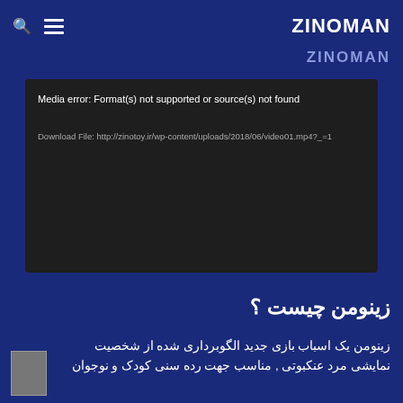ZINOMAN
[Figure (screenshot): Video player error box with dark background showing: Media error: Format(s) not supported or source(s) not found. Download File: http://zinotoy.ir/wp-content/uploads/2018/06/video01.mp4?_=1]
زینومن چیست ؟
زینومن یک اسباب بازی جدید الگوبرداری شده از شخصیت نمایشی مرد عنکبوتی , مناسب جهت رده سنی کودک و نوجوان